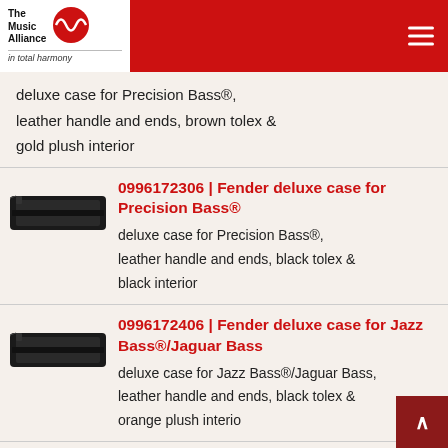The Music Alliance in total harmony
deluxe case for Precision Bass®, leather handle and ends, brown tolex & gold plush interior
[Figure (photo): Black rectangular guitar case]
0996172306 | Fender deluxe case for Precision Bass®
deluxe case for Precision Bass®, leather handle and ends, black tolex & black interior
[Figure (photo): Black rectangular guitar case]
0996172406 | Fender deluxe case for Jazz Bass®/Jaguar Bass
deluxe case for Jazz Bass®/Jaguar Bass, leather handle and ends, black tolex & orange plush interio